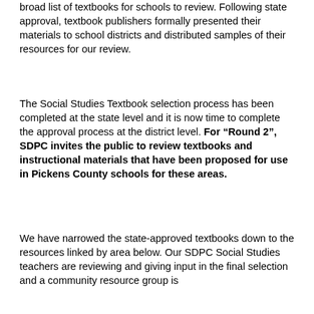broad list of textbooks for schools to review. Following state approval, textbook publishers formally presented their materials to school districts and distributed samples of their resources for our review.
The Social Studies Textbook selection process has been completed at the state level and it is now time to complete the approval process at the district level. For “Round 2”, SDPC invites the public to review textbooks and instructional materials that have been proposed for use in Pickens County schools for these areas.
We have narrowed the state-approved textbooks down to the resources linked by area below. Our SDPC Social Studies teachers are reviewing and giving input in the final selection and a community resource group is